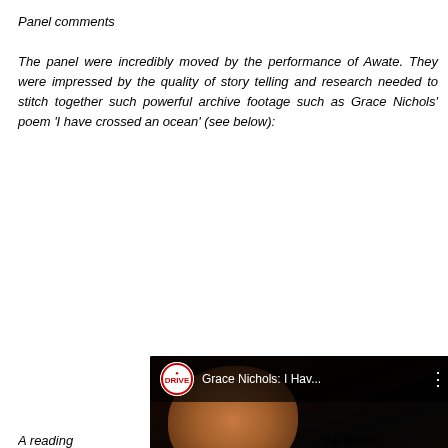Panel comments
The panel were incredibly moved by the performance of Awate. They were impressed by the quality of story telling and research needed to stitch together such powerful archive footage such as Grace Nichols' poem 'I have crossed an ocean' (see below):
[Figure (screenshot): YouTube video embed showing Grace Nichols: I Hav... with a woman speaking at a microphone against a dark background, with a YouTube play button overlay and a survey notification popup reading 'Take part in our survey!' with a Reply button]
A reading...                                                          the British